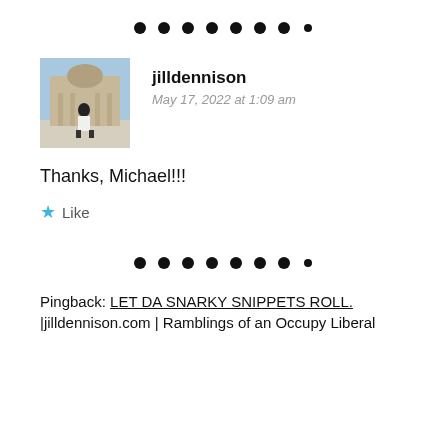[Figure (other): Decorative dots divider separator]
[Figure (photo): Avatar photo of jilldennison — person standing outdoors in front of a grand building]
jilldennison
May 17, 2022 at 1:09 am
Thanks, Michael!!!
Like
[Figure (other): Decorative dots divider separator]
Pingback: LET DA SNARKY SNIPPETS ROLL.
|jilldennison.com | Ramblings of an Occupy Liberal